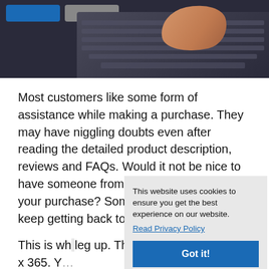[Figure (photo): Photo of hands typing on a laptop keyboard, with a dark background and blue/gray buttons visible at the top left.]
Most customers like some form of assistance while making a purchase. They may have niggling doubts even after reading the detailed product description, reviews and FAQs. Would it not be nice to have someone from the store help you with your purchase? Someone to whom you can keep getting back to until you are s…
This is wh… leg up. Th… sales ass… can answ… 7 x 365. Y…
This website uses cookies to ensure you get the best experience on our website.
Read Privacy Policy
Got it!